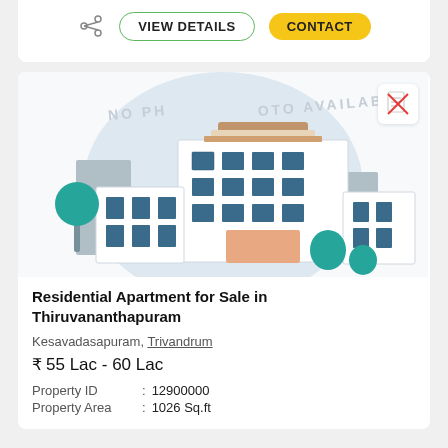[Figure (screenshot): Top card with share icon, VIEW DETAILS button (green outline), and CONTACT button (yellow)]
[Figure (illustration): Property listing illustration showing a building/apartment complex with 'NO PHOTO AVAILABLE' watermark and a document icon with red cross in top right corner]
Residential Apartment for Sale in Thiruvananthapuram
Kesavadasapuram, Trivandrum
₹ 55 Lac - 60 Lac
Property ID : 12900000
Property Area : 1026 Sq.ft